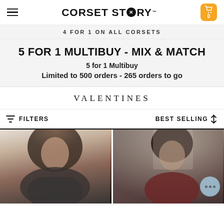CORSET STORY
4 FOR 1 ON ALL CORSETS
5 FOR 1 MULTIBUY - MIX & MATCH
5 for 1 Multibuy
Limited to 500 orders - 265 orders to go
VALENTINES
FILTERS
BEST SELLING
[Figure (photo): Female model wearing a black corset, lingerie product photo]
[Figure (photo): Female model wearing a dark red/burgundy corset or lingerie, product photo]